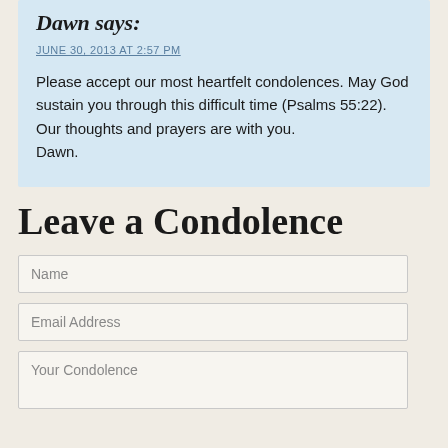Dawn says:
JUNE 30, 2013 AT 2:57 PM
Please accept our most heartfelt condolences. May God sustain you through this difficult time (Psalms 55:22).
Our thoughts and prayers are with you.
Dawn.
Leave a Condolence
Name
Email Address
Your Condolence